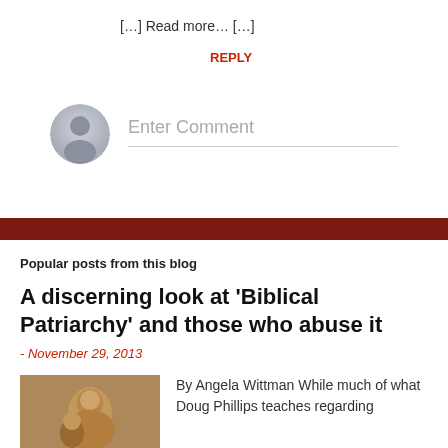[…] Read more… […]
REPLY
[Figure (illustration): Grey avatar placeholder icon of a person silhouette]
Enter Comment
Popular posts from this blog
A discerning look at 'Biblical Patriarchy' and those who abuse it
- November 29, 2013
[Figure (photo): Photo of a woman holding a child, classical painting style]
By Angela Wittman While much of what Doug Phillips teaches regarding